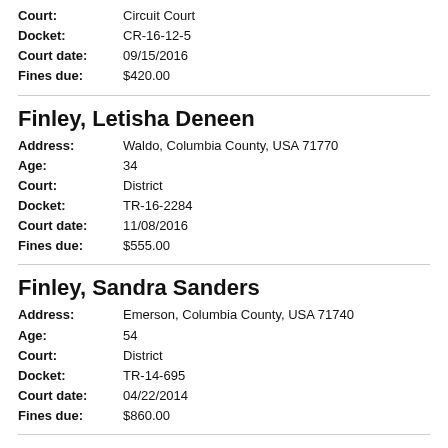Court: Circuit Court
Docket: CR-16-12-5
Court date: 09/15/2016
Fines due: $420.00
Finley, Letisha Deneen
Address: Waldo, Columbia County, USA 71770
Age: 34
Court: District
Docket: TR-16-2284
Court date: 11/08/2016
Fines due: $555.00
Finley, Sandra Sanders
Address: Emerson, Columbia County, USA 71740
Age: 54
Court: District
Docket: TR-14-695
Court date: 04/22/2014
Fines due: $860.00
Fish, Bryan Keith, Jr